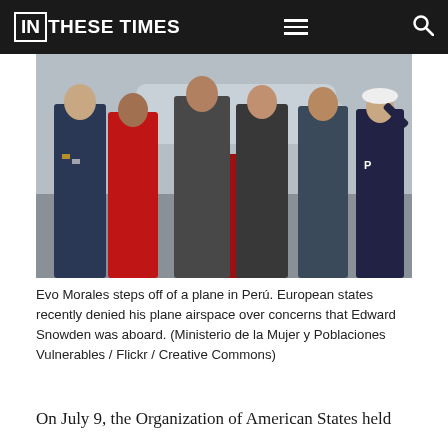IN THESE TIMES
[Figure (photo): Evo Morales and accompanying officials walking on a red carpet on an airport tarmac, with military officers and police present. A plane is visible in the background.]
Evo Morales steps off of a plane in Perú. European states recently denied his plane airspace over concerns that Edward Snowden was aboard. (Ministerio de la Mujer y Poblaciones Vulnerables / Flickr / Creative Commons)
On July 9, the Organization of American States held